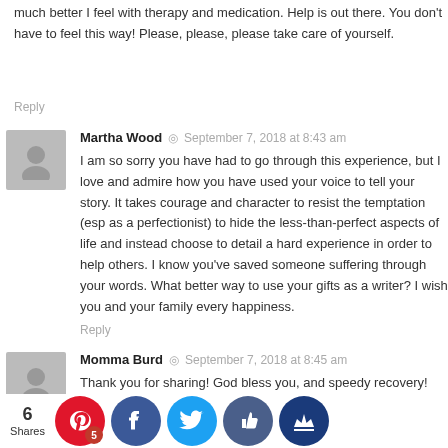much better I feel with therapy and medication. Help is out there. You don't have to feel this way! Please, please, please take care of yourself.
Reply
Martha Wood  ◎  September 7, 2018 at 8:43 am
I am so sorry you have had to go through this experience, but I love and admire how you have used your voice to tell your story. It takes courage and character to resist the temptation (esp as a perfectionist) to hide the less-than-perfect aspects of life and instead choose to detail a hard experience in order to help others. I know you've saved someone suffering through your words. What better way to use your gifts as a writer? I wish you and your family every happiness.
Reply
Momma Burd  ◎  September 7, 2018 at 8:45 am
Thank you for sharing! God bless you, and speedy recovery!
Reply
6 Shares
You would be proud of the wonderful person I've become. I think...